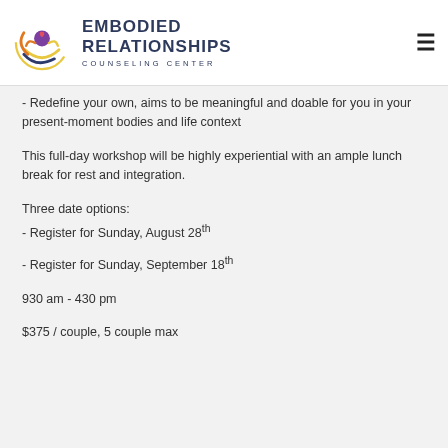[Figure (logo): Embodied Relationships Counseling Center logo with stylized eye/figure icon in purple, gold, orange, and blue colors, with the organization name in dark navy text]
Redefine your own, aims to be meaningful and doable for you in your present-moment bodies and life context
This full-day workshop will be highly experiential with an ample lunch break for rest and integration.
Three date options:
- Register for Sunday, August 28th
- Register for Sunday, September 18th
930 am - 430 pm
$375 / couple, 5 couple max